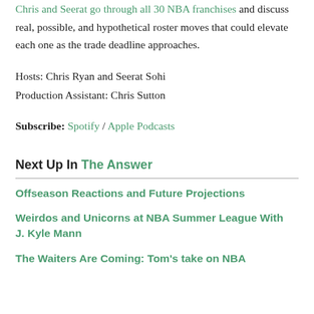Chris and Seerat go through all 30 NBA franchises and discuss real, possible, and hypothetical roster moves that could elevate each one as the trade deadline approaches.
Hosts: Chris Ryan and Seerat Sohi
Production Assistant: Chris Sutton
Subscribe: Spotify / Apple Podcasts
Next Up In The Answer
Offseason Reactions and Future Projections
Weirdos and Unicorns at NBA Summer League With J. Kyle Mann
The Waiters Are Coming: Tom's take on NBA...